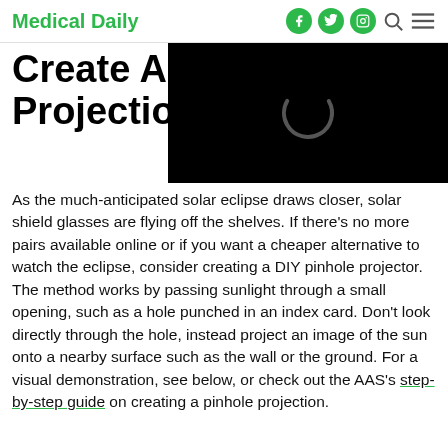Medical Daily
Create A Pinhole Projection
[Figure (screenshot): Black video player area with a circular loading spinner (dark gray arc on black background), positioned top-right overlapping the article title.]
As the much-anticipated solar eclipse draws closer, solar shield glasses are flying off the shelves. If there's no more pairs available online or if you want a cheaper alternative to watch the eclipse, consider creating a DIY pinhole projector. The method works by passing sunlight through a small opening, such as a hole punched in an index card. Don't look directly through the hole, instead project an image of the sun onto a nearby surface such as the wall or the ground. For a visual demonstration, see below, or check out the AAS's step-by-step guide on creating a pinhole projection.